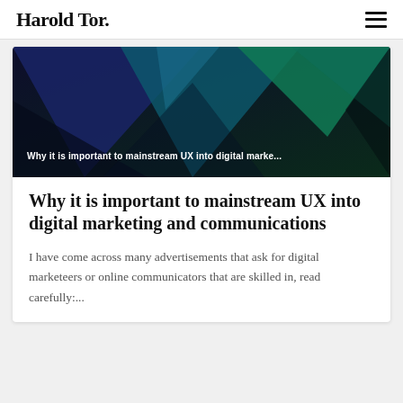Harold Tor.
[Figure (illustration): Abstract geometric hero image with overlapping triangular shapes in dark blue, teal, green and black color gradient. Overlay text reads: 'Why it is important to mainstream UX into digital marke...']
Why it is important to mainstream UX into digital marketing and communications
I have come across many advertisements that ask for digital marketeers or online communicators that are skilled in, read carefully:...